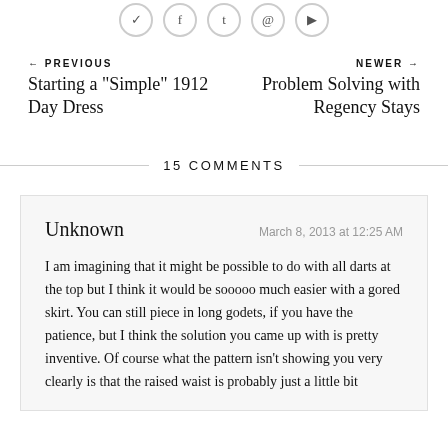[Figure (other): Social sharing icon buttons (circles with icons)]
← PREVIOUS
Starting a "Simple" 1912 Day Dress
NEWER →
Problem Solving with Regency Stays
15 COMMENTS
Unknown
March 8, 2013 at 12:25 AM
I am imagining that it might be possible to do with all darts at the top but I think it would be sooooo much easier with a gored skirt. You can still piece in long godets, if you have the patience, but I think the solution you came up with is pretty inventive. Of course what the pattern isn't showing you very clearly is that the raised waist is probably just a little bit